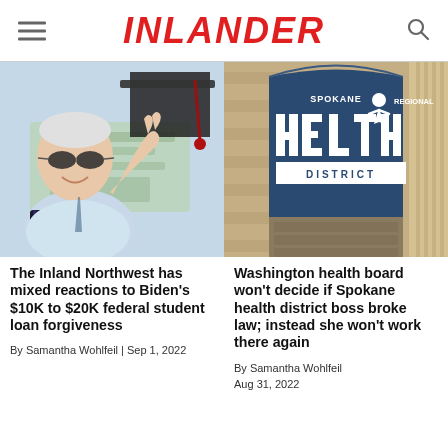INLANDER
[Figure (photo): President Biden smiling and waving, wearing sunglasses, holding a book, overlaid with graduation cap tassel and US dollar bills imagery]
The Inland Northwest has mixed reactions to Biden's $10K to $20K federal student loan forgiveness
By Samantha Wohlfeil | Sep 1, 2022
[Figure (photo): Spokane Regional Health District sign on building exterior, blue arched sign with white text and figure logo]
Washington health board won't decide if Spokane health district boss broke law; instead she won't work there again
By Samantha Wohlfeil
Aug 31, 2022